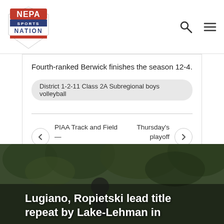NEPA Sports Nation
Fourth-ranked Berwick finishes the season 12-4.
District 1-2-11 Class 2A Subregional boys volleyball
PIAA Track and Field — Friday Blog
Thursday's playoff scoreboard
You may also like
[Figure (photo): Sports photo with overlay text: Lugiano, Ropietski lead title repeat by Lake-Lehman in...]